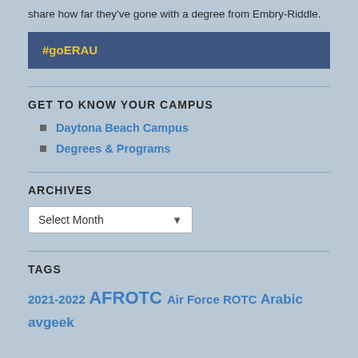share how far they've gone with a degree from Embry-Riddle.
#goERAU
GET TO KNOW YOUR CAMPUS
Daytona Beach Campus
Degrees & Programs
ARCHIVES
Select Month
TAGS
2021-2022 AFROTC Air Force ROTC Arabic avgeek